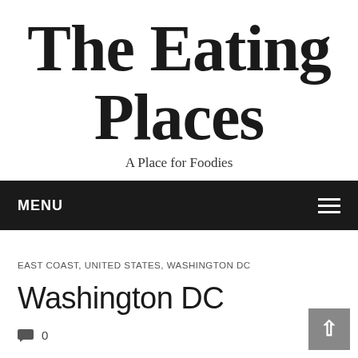The Eating Places
A Place for Foodies
MENU
EAST COAST, UNITED STATES, WASHINGTON DC
Washington DC
0